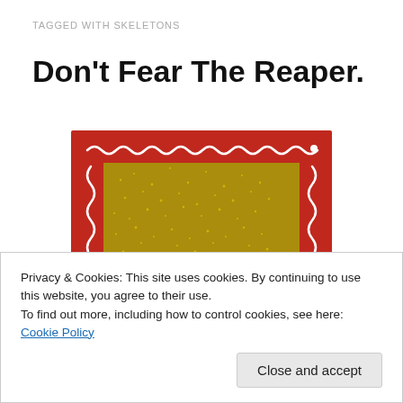TAGGED WITH SKELETONS
Don't Fear The Reaper.
[Figure (photo): A decorative Day of the Dead style shadowbox with a red painted wooden frame featuring white squiggly line designs. Inside the box with a gold glitter background are two skeleton figurines — one wearing a black top hat and another smaller one beside it.]
Privacy & Cookies: This site uses cookies. By continuing to use this website, you agree to their use.
To find out more, including how to control cookies, see here: Cookie Policy
Close and accept